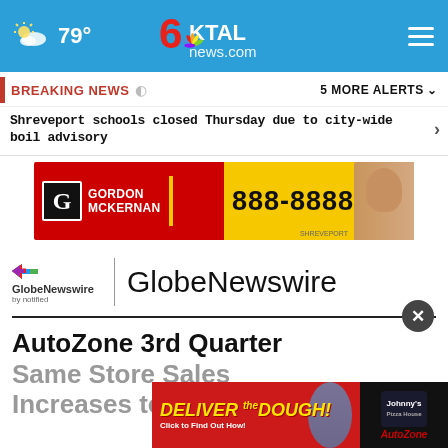KTAL News 6 - news.com | 79° weather
BREAKING NEWS | 5 MORE ALERTS
Shreveport schools closed Thursday due to city-wide boil advisory
[Figure (photo): Gordon McKernan advertisement banner: red and yellow background, G logo, GORDON MCKERNAN text, phone number 888-8888, photo of man in suit]
[Figure (logo): GlobeNewswire by notified logo with colorful arrow icon, followed by large GlobeNewswire text]
AutoZone 3rd Quarter Same Store Sales Increases to $2,9?00
[Figure (photo): Deliver the Dough advertisement overlay with Johnny's pizza branding and AutoZone logo]